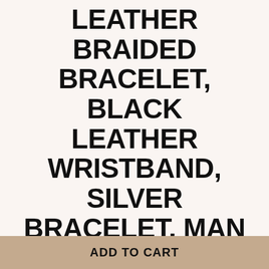LEATHER BRAIDED BRACELET, BLACK LEATHER WRISTBAND, SILVER BRACELET, MAN WRISTBANDS, GIFT
$78.46
Shipping to United States: Free
Quantity
ADD TO CART